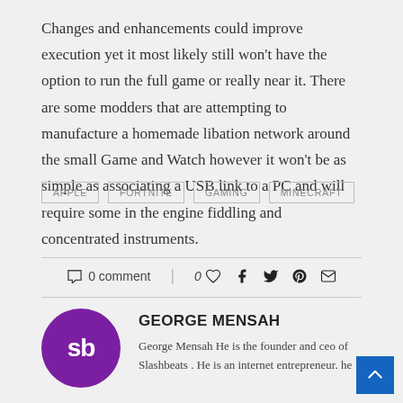Changes and enhancements could improve execution yet it most likely still won't have the option to run the full game or really near it. There are some modders that are attempting to manufacture a homemade libation network around the small Game and Watch however it won't be as simple as associating a USB link to a PC and will require some in the engine fiddling and concentrated instruments.
APPLE
FORTNITE
GAMING
MINECRAFT
0 comment | 0 ♥ social icons
GEORGE MENSAH
George Mensah He is the founder and ceo of Slashbeats . He is an internet entrepreneur. he